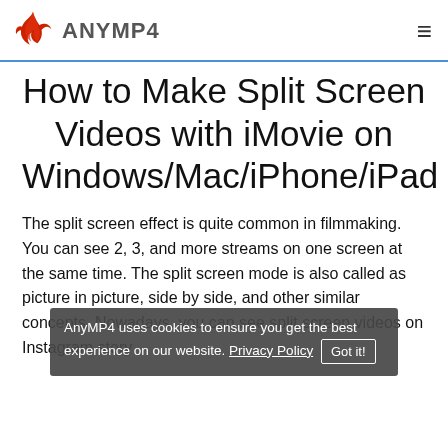ANYMP4
How to Make Split Screen Videos with iMovie on Windows/Mac/iPhone/iPad
The split screen effect is quite common in filmmaking. You can see 2, 3, and more streams on one screen at the same time. The split screen mode is also called as picture in picture, side by side, and other similar concepts. Nowadays, you can see split screen videos on Instagram story
AnyMP4 uses cookies to ensure you get the best experience on our website. Privacy Policy Got it!